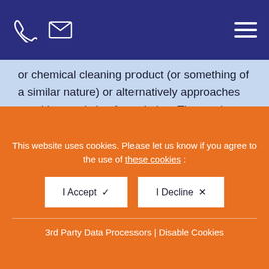Navigation bar with phone icon, email icon, and hamburger menu
or chemical cleaning product (or something of a similar nature) or alternatively approaches us with an existing formulation. The product requirements and method of application are then assessed, before the formulation of the product is created, tested and finalised.
As with all of our chemical formulation services, the specific formula is designed to suit the individual needs of each of our clients, whilst remaining confidential at all times.
This website uses cookies. Please let us know if you agree to the use of these cookies :
I Accept  ✓
I Decline  ×
3rd Party Data Processors | Disable Cookies